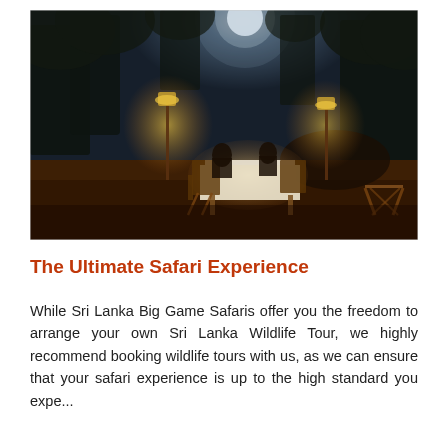[Figure (photo): Nighttime outdoor safari dinner scene: two people seated at a white-tablecloth table in a bush setting illuminated by hanging lanterns and candlelight, with trees silhouetted against a moonlit dark blue sky.]
The Ultimate Safari Experience
While Sri Lanka Big Game Safaris offer you the freedom to arrange your own Sri Lanka Wildlife Tour, we highly recommend booking wildlife tours with us, as we can ensure that your safari experience is up to the high standard you expe...